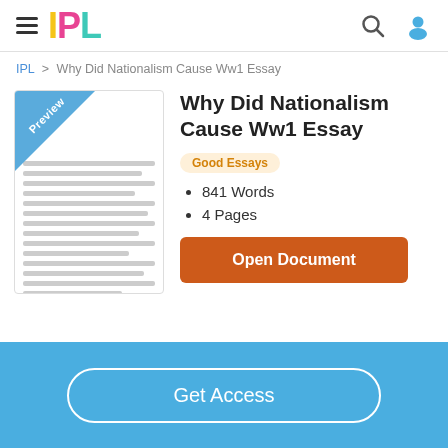IPL
IPL > Why Did Nationalism Cause Ww1 Essay
Why Did Nationalism Cause Ww1 Essay
Good Essays
841 Words
4 Pages
Open Document
Get Access